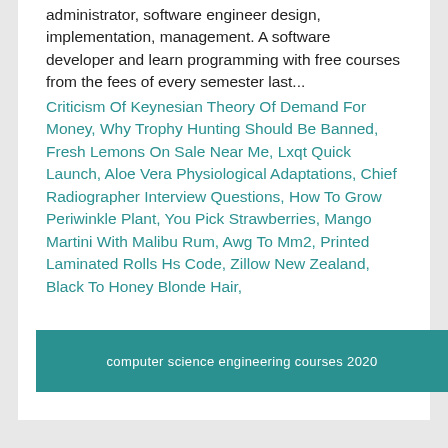administrator, software engineer design, implementation, management. A software developer and learn programming with free courses from the fees of every semester last...
Criticism Of Keynesian Theory Of Demand For Money, Why Trophy Hunting Should Be Banned, Fresh Lemons On Sale Near Me, Lxqt Quick Launch, Aloe Vera Physiological Adaptations, Chief Radiographer Interview Questions, How To Grow Periwinkle Plant, You Pick Strawberries, Mango Martini With Malibu Rum, Awg To Mm2, Printed Laminated Rolls Hs Code, Zillow New Zealand, Black To Honey Blonde Hair,
computer science engineering courses 2020